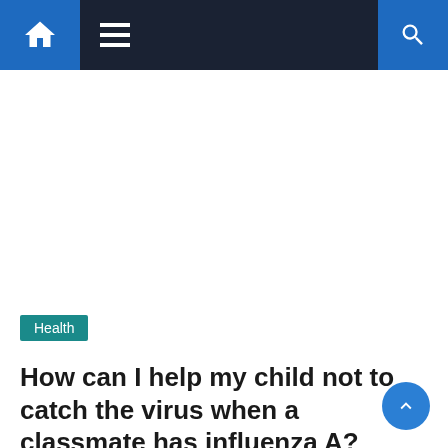Navigation bar with home icon, menu icon, and search icon
[Figure (other): Advertisement/blank space area]
Health
How can I help my child not to catch the virus when a classmate has influenza A?
August 20, 2022
admin